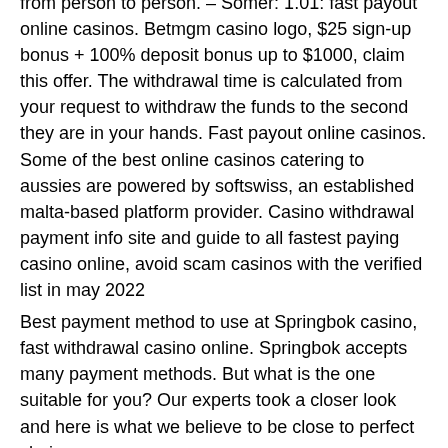from person to person. – Somer: 1.01: fast payout online casinos. Betmgm casino logo, $25 sign-up bonus + 100% deposit bonus up to $1000, claim this offer. The withdrawal time is calculated from your request to withdraw the funds to the second they are in your hands. Fast payout online casinos. Some of the best online casinos catering to aussies are powered by softswiss, an established malta-based platform provider. Casino withdrawal payment info site and guide to all fastest paying casino online, avoid scam casinos with the verified list in may 2022
Best payment method to use at Springbok casino, fast withdrawal casino online. Springbok accepts many payment methods. But what is the one suitable for you? Our experts took a closer look and here is what we believe to be close to perfect choices.
Today's Results: